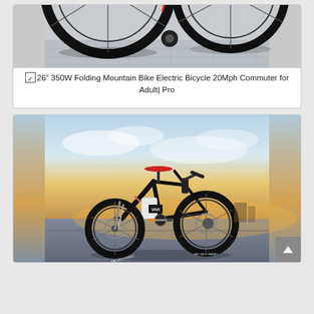[Figure (photo): Partial top view of a black electric mountain bike wheel and frame on a tiled surface, cropped at top]
☑26" 350W Folding Mountain Bike Electric Bicycle 20Mph Commuter for Adult| Pro
[Figure (photo): Black electric mountain bike (VIVI brand) with red accents, photographed against a dramatic sky background with warm sunset lighting]